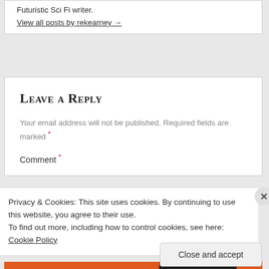Futuristic Sci Fi writer.
View all posts by rekearney →
Leave a Reply
Your email address will not be published. Required fields are marked *
Comment *
Privacy & Cookies: This site uses cookies. By continuing to use this website, you agree to their use.
To find out more, including how to control cookies, see here: Cookie Policy
Close and accept